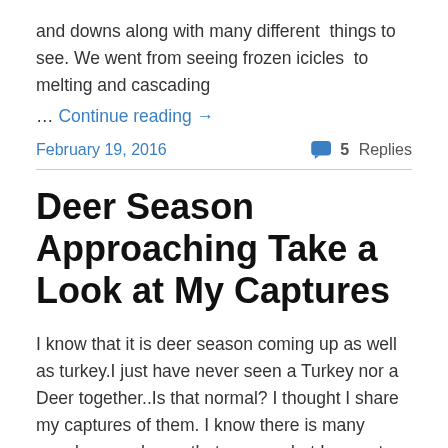and downs along with many different  things to see. We went from seeing frozen icicles  to melting and cascading
… Continue reading →
February 19, 2016
5 Replies
Deer Season Approaching Take a Look at My Captures
I know that it is deer season coming up as well as turkey.I just have never seen a Turkey nor a Deer together..Is that normal? I thought I share my captures of them. I know there is many people  may  honor that season ,but I am not one of those. I also know the need to have to do it. I just … Continue reading →